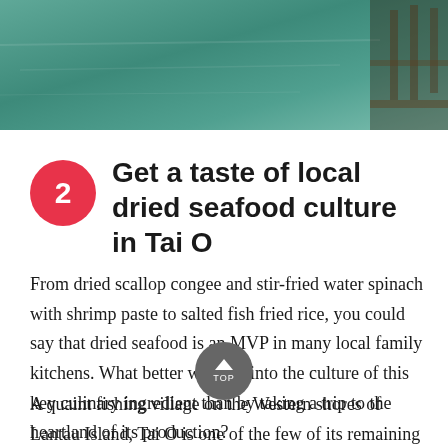[Figure (photo): Aerial or water-level view of green harbor water with a dock/stilt structure visible on the right side — Tai O fishing village.]
2 Get a taste of local dried seafood culture in Tai O
From dried scallop congee and stir-fried water spinach with shrimp paste to salted fish fried rice, you could say that dried seafood is an MVP in many local family kitchens. What better window into the culture of this key culinary ingredient than by taking a trip to the heartland of its production?
A quaint fishing village on the Western shores of Lantau Island, Tai O is one of the few of its remaining kind in Hong Kong that has held on to its